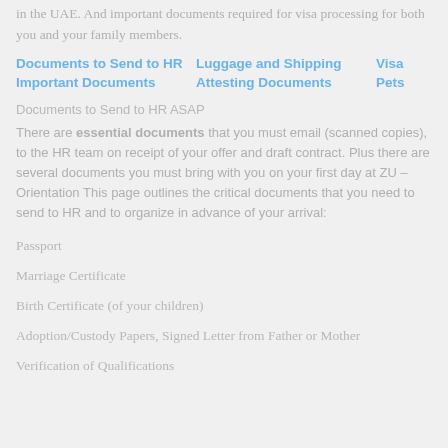in the UAE.  And important documents required for visa processing for both you and your family members.
Documents to Send to HR  Luggage and Shipping  Visa  Important Documents  Attesting Documents  Pets
Documents to Send to HR ASAP
There are essential documents that you must email (scanned copies), to the HR team on receipt of your offer and draft contract. Plus there are several documents you must bring with you on your first day at ZU – Orientation This page outlines the critical documents that you need to send to HR and to organize in advance of your arrival:
Passport
Marriage Certificate
Birth Certificate (of your children)
Adoption/Custody Papers, Signed Letter from Father or Mother
Verification of Qualifications